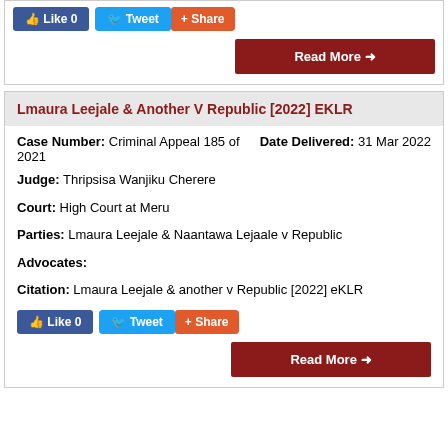Like 0 | Tweet | Share
Read More →
Lmaura Leejale & Another V Republic [2022] EKLR
Case Number: Criminal Appeal 185 of 2021   Date Delivered: 31 Mar 2022
Judge: Thripsisa Wanjiku Cherere
Court: High Court at Meru
Parties: Lmaura Leejale & Naantawa Lejaale v Republic
Advocates:
Citation: Lmaura Leejale & another v Republic [2022] eKLR
Like 0 | Tweet | Share
Read More →